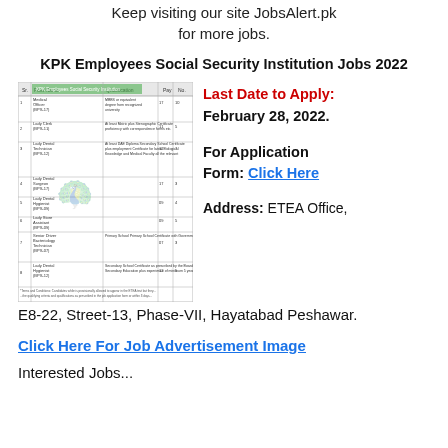Keep visiting our site JobsAlert.pk for more jobs.
KPK Employees Social Security Institution Jobs 2022
[Figure (table-as-image): Scanned table image showing KPK Employees Social Security Institution job listings with columns for position, qualifications, pay scale, and other details]
Last Date to Apply: February 28, 2022.
For Application Form: Click Here
Address: ETEA Office, E8-22, Street-13, Phase-VII, Hayatabad Peshawar.
Click Here For Job Advertisement Image
Interested Jobs...